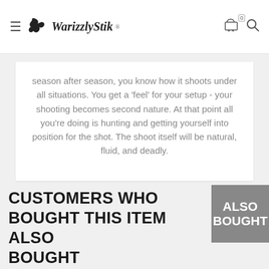WarizzlyStik
season after season, you know how it shoots under all situations. You get a 'feel' for your setup - your shooting becomes second nature. At that point all you're doing is hunting and getting yourself into position for the shot. The shoot itself will be natural, fluid, and deadly.
CUSTOMERS WHO BOUGHT THIS ITEM ALSO BOUGHT